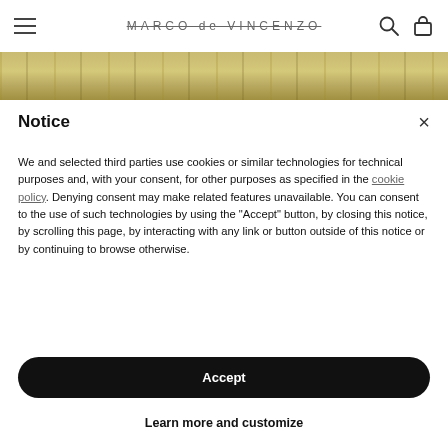MARCO de VINCENZO
[Figure (photo): Partial view of a decorative curtained or columned background in golden/olive tones]
Notice
We and selected third parties use cookies or similar technologies for technical purposes and, with your consent, for other purposes as specified in the cookie policy. Denying consent may make related features unavailable. You can consent to the use of such technologies by using the "Accept" button, by closing this notice, by scrolling this page, by interacting with any link or button outside of this notice or by continuing to browse otherwise.
Accept
Learn more and customize